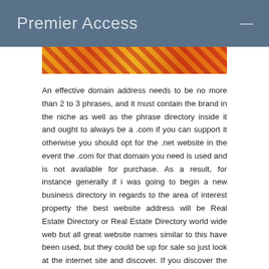Premier Access
[Figure (photo): Colorful abstract or decorative image strip with red, yellow, and orange tones]
An effective domain address needs to be no more than 2 to 3 phrases, and it must contain the brand in the niche as well as the phrase directory inside it and ought to always be a .com if you can support it otherwise you should opt for the .net website in the event the .com for that domain you need is used and is not available for purchase. As a result, for instance generally if i was going to begin a new business directory in regards to the area of interest property the best website address will be Real Estate Directory or Real Estate Directory world wide web but all great website names similar to this have been used, but they could be up for sale so just look at the internet site and discover. If you discover the domain address is not available for purchase then you might also try out introducing a dash between the two phrases. If you must opt for a 3 phrase domain name you could potentially enter something like your village or town brand while